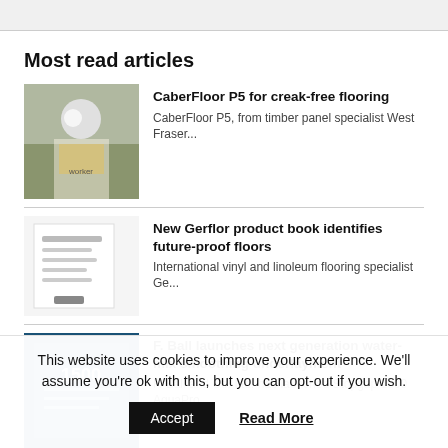Most read articles
CaberFloor P5 for creak-free flooring
CaberFloor P5, from timber panel specialist West Fraser...
New Gerflor product book identifies future-proof floors
International vinyl and linoleum flooring specialist Ge...
F. Ball launches next generation water-mix smoothing underlayment
F. Ball and Co. Ltd. has launched Stopgap 1500 AquaPro,...
DESIGNER CONTRACTS 'TEAM MASSIVE' SMASHES THREE PEAKS CHALLENGE
This website uses cookies to improve your experience. We'll assume you're ok with this, but you can opt-out if you wish.
Accept   Read More